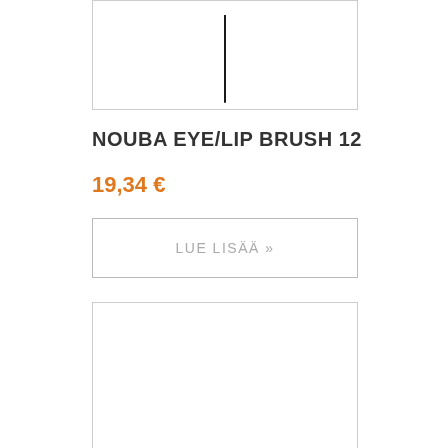[Figure (photo): Top portion of a makeup brush (Nouba Eye/Lip Brush 12) showing the thin black handle/stick against white background, inside a bordered rectangle]
NOUBA EYE/LIP BRUSH 12
19,34 €
LUE LISÄÄ »
[Figure (photo): Empty white product image placeholder box with light gray border]